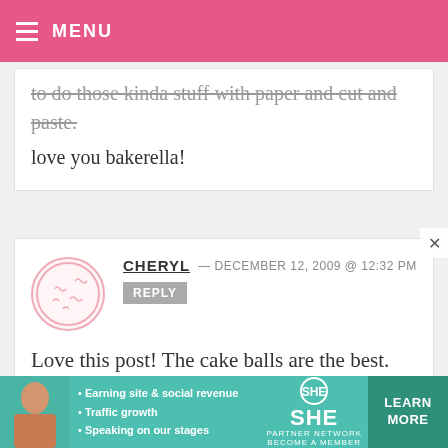MENU
to do those kinda stuff with paper and cut and paste.
love you bakerella!
CHERYL — DECEMBER 12, 2009 @ 12:32 PM
REPLY
Love this post! The cake balls are the best. Love the litte tiny books you made for them. You didn't tell us, did PW love them or what, wait, how could she not love them, you made them. I